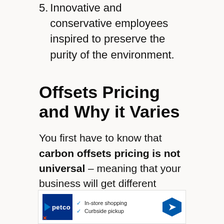5. Innovative and conservative employees inspired to preserve the purity of the environment.
Offsets Pricing and Why it Varies
You first have to know that carbon offsets pricing is not universal – meaning that your business will get different quotations from different providers.
As of 2016, carbon offsets were selling at an
[Figure (other): Petco advertisement banner showing logo, in-store shopping and curbside pickup options, and a navigation arrow icon]